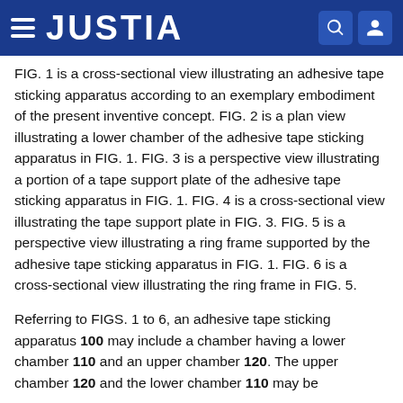JUSTIA
FIG. 1 is a cross-sectional view illustrating an adhesive tape sticking apparatus according to an exemplary embodiment of the present inventive concept. FIG. 2 is a plan view illustrating a lower chamber of the adhesive tape sticking apparatus in FIG. 1. FIG. 3 is a perspective view illustrating a portion of a tape support plate of the adhesive tape sticking apparatus in FIG. 1. FIG. 4 is a cross-sectional view illustrating the tape support plate in FIG. 3. FIG. 5 is a perspective view illustrating a ring frame supported by the adhesive tape sticking apparatus in FIG. 1. FIG. 6 is a cross-sectional view illustrating the ring frame in FIG. 5.
Referring to FIGS. 1 to 6, an adhesive tape sticking apparatus 100 may include a chamber having a lower chamber 110 and an upper chamber 120. The upper chamber 120 and the lower chamber 110 may be